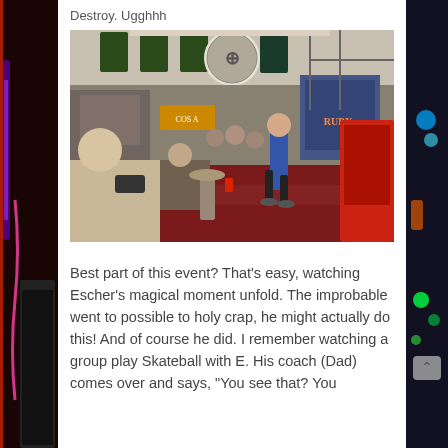Destroy. Ugghhh
[Figure (photo): Indoor arcade/convention hall scene with a young person playing a pinball or arcade game while spectators watch. Colorful banners hang from the ceiling. Red carpet floor. Pinball machines visible in background.]
Best part of this event? That’s easy, watching Escher’s magical moment unfold. The improbable went to possible to holy crap, he might actually do this! And of course he did. I remember watching a group play Skateball with E. His coach (Dad) comes over and says, “You see that? You